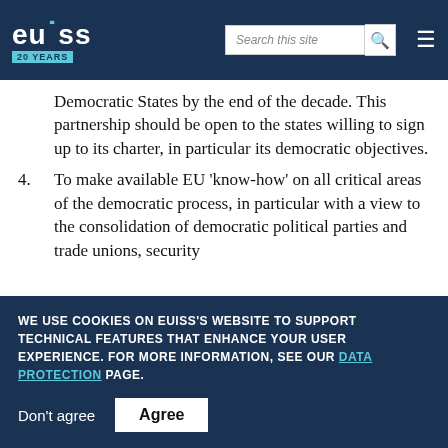EUISS 20 YEARS — Search this site
Democratic States by the end of the decade. This partnership should be open to the states willing to sign up to its charter, in particular its democratic objectives.
4. To make available EU 'know-how' on all critical areas of the democratic process, in particular with a view to the consolidation of democratic political parties and trade unions, security
WE USE COOKIES ON EUISS'S WEBSITE TO SUPPORT TECHNICAL FEATURES THAT ENHANCE YOUR USER EXPERIENCE. FOR MORE INFORMATION, SEE OUR DATA PROTECTION PAGE.
Don't agree   Agree